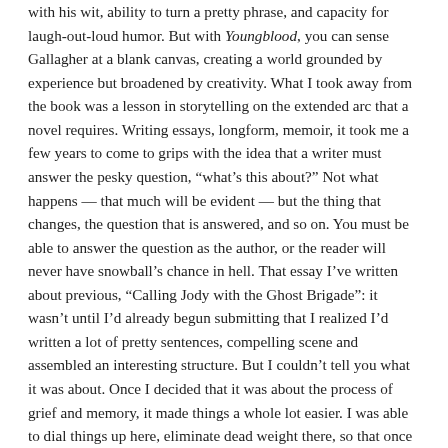with his wit, ability to turn a pretty phrase, and capacity for laugh-out-loud humor. But with Youngblood, you can sense Gallagher at a blank canvas, creating a world grounded by experience but broadened by creativity. What I took away from the book was a lesson in storytelling on the extended arc that a novel requires. Writing essays, longform, memoir, it took me a few years to come to grips with the idea that a writer must answer the pesky question, “what’s this about?” Not what happens — that much will be evident — but the thing that changes, the question that is answered, and so on. You must be able to answer the question as the author, or the reader will never have snowball’s chance in hell. That essay I’ve written about previous, “Calling Jody with the Ghost Brigade”: it wasn’t until I’d already begun submitting that I realized I’d written a lot of pretty sentences, compelling scene and assembled an interesting structure. But I couldn’t tell you what it was about. Once I decided that it was about the process of grief and memory, it made things a whole lot easier. I was able to dial things up here, eliminate dead weight there, so that once the reader hit the last sentence, they would be able to answer the question (I hope, anyway.)
One one hand, short stories and essays are disadvantaged by what